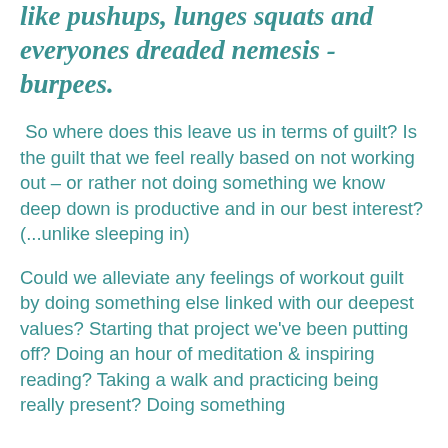like pushups, lunges squats and everyones dreaded nemesis - burpees.
So where does this leave us in terms of guilt? Is the guilt that we feel really based on not working out – or rather not doing something we know deep down is productive and in our best interest? (...unlike sleeping in)
Could we alleviate any feelings of workout guilt by doing something else linked with our deepest values? Starting that project we've been putting off? Doing an hour of meditation & inspiring reading? Taking a walk and practicing being really present? Doing something